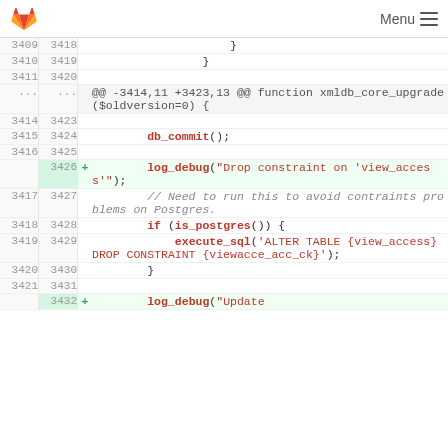GitLab  Menu
[Figure (screenshot): GitLab code diff view showing PHP code lines 3409-3432 with added lines highlighted in green]
3409 3418 }
3410 3419 }
3411 3420
... ... @@ -3414,11 +3423,13 @@ function xmldb_core_upgrade($oldversion=0) {
3414 3423
3415 3424         db_commit();
3416 3425
     3426 +         log_debug("Drop constraint on 'view_access'");
3417 3427         // Need to run this to avoid contraints problems on Postgres.
3418 3428         if (is_postgres()) {
3419 3429             execute_sql('ALTER TABLE {view_access} DROP CONSTRAINT {viewacce_acc_ck}');
3420 3430         }
3421 3431
     3432 +         log_debug("Update